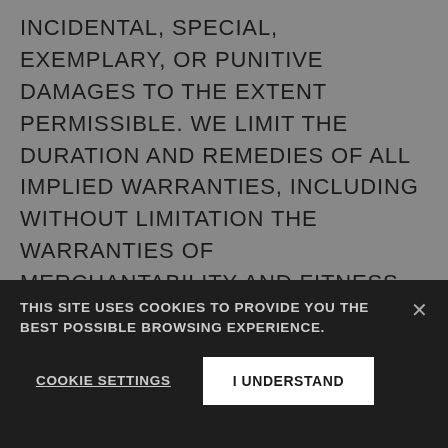INCIDENTAL, SPECIAL, EXEMPLARY, OR PUNITIVE DAMAGES TO THE EXTENT PERMISSIBLE. WE LIMIT THE DURATION AND REMEDIES OF ALL IMPLIED WARRANTIES, INCLUDING WITHOUT LIMITATION THE WARRANTIES OF MERCHANTABILITY AND FITNESS FOR A PARTICULAR PURPOSE, TO THE DURATION OF THE LIMITED WARRANTIES APPLICABLE TO THE PRODUCT ASSOCIATED WITH THE SERVICE.
This site uses cookies to provide you the best possible browsing experience.
Cookie Settings
I Understand